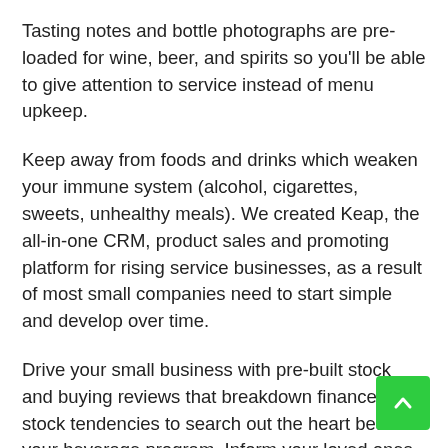Tasting notes and bottle photographs are pre-loaded for wine, beer, and spirits so you'll be able to give attention to service instead of menu upkeep.
Keep away from foods and drinks which weaken your immune system (alcohol, cigarettes, sweets, unhealthy meals). We created Keap, the all-in-one CRM, product sales and promoting platform for rising service businesses, as a result of most small companies need to start simple and develop over time.
Drive your small business with pre-built stock and buying reviews that breakdown finances and stock tendencies to search out the heart beat of your beverage program. Inform your loved ones about your plan to allow them to assist you make